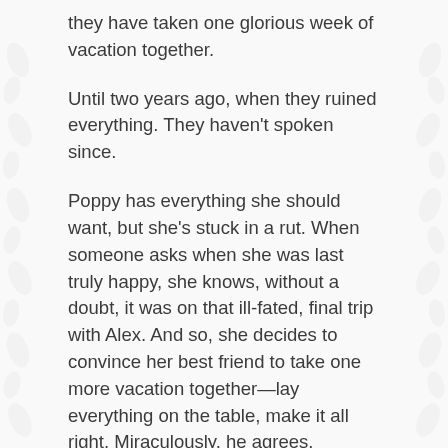they have taken one glorious week of vacation together.
Until two years ago, when they ruined everything. They haven't spoken since.
Poppy has everything she should want, but she's stuck in a rut. When someone asks when she was last truly happy, she knows, without a doubt, it was on that ill-fated, final trip with Alex. And so, she decides to convince her best friend to take one more vacation together—lay everything on the table, make it all right. Miraculously, he agrees.
Now she has a week to fix everything. If only she can get around the one big truth that has always stood quietly in the middle of their seemingly perfect